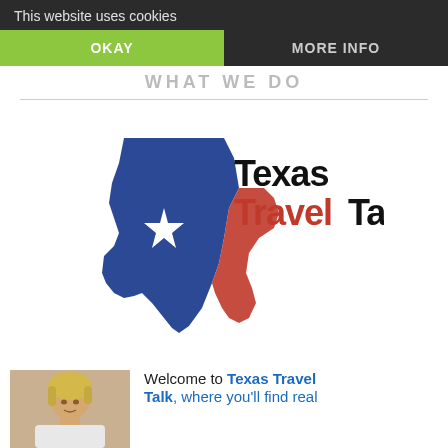This website uses cookies
OKAY
MORE INFO
WHAT WE DO
[Figure (logo): Texas Travel Talk logo — Texas state silhouette in blue and red with a white star, with text 'Texas Travel Talk' in black and red bold font]
[Figure (photo): Portrait photo of a blonde woman]
Welcome to Texas Travel Talk, where you'll find real...